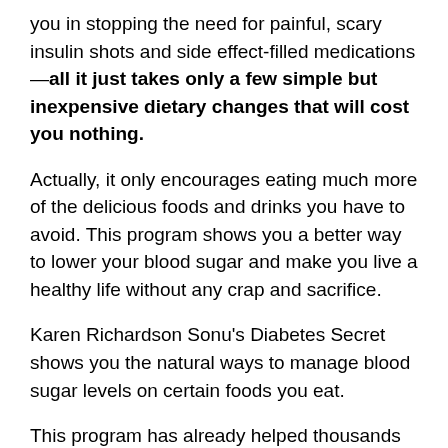you in stopping the need for painful, scary insulin shots and side effect-filled medications—all it just takes only a few simple but inexpensive dietary changes that will cost you nothing.
Actually, it only encourages eating much more of the delicious foods and drinks you have to avoid. This program shows you a better way to lower your blood sugar and make you live a healthy life without any crap and sacrifice.
Karen Richardson Sonu's Diabetes Secret shows you the natural ways to manage blood sugar levels on certain foods you eat.
This program has already helped thousands of people all around the world. It helps you feel better and about getting great relief from their symptoms within days.